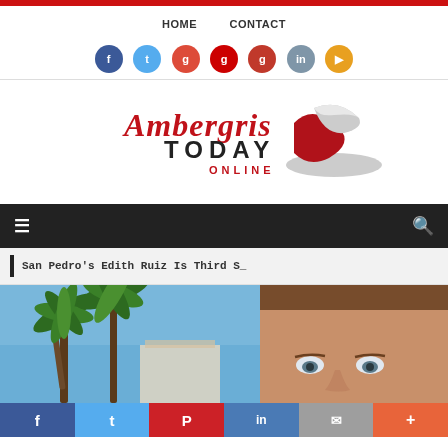HOME   CONTACT
[Figure (logo): Ambergris Today Online logo with stylized script text and swoosh graphic]
Navigation dark bar with menu icon and search icon
San Pedro's Edith Ruiz Is Third S_
[Figure (photo): Photo showing palm trees against blue sky on left, and a man's face on the right side]
f  Twitter  Pinterest  in  Email  More